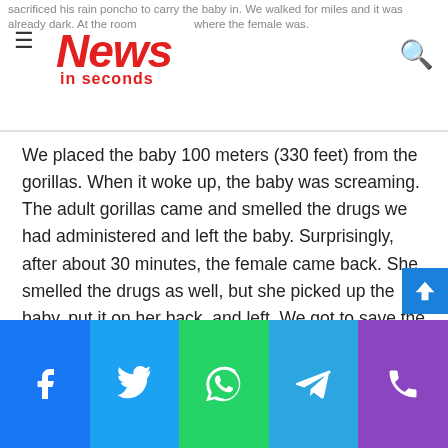sacrificed his rain poncho to carry the baby in. We walked for miles and it was already dark. At the room where the female was.
[Figure (logo): News in seconds logo — red italic bold text]
We placed the baby 100 meters (330 feet) from the gorillas. When it woke up, the baby was screaming. The adult gorillas came and smelled the drugs we had administered and left the baby. Surprisingly, after about 30 minutes, the female came back. She smelled the drugs as well, but she picked up the baby, put it on her back, and left. We got to save the baby and because of her maternal instinct, she accepted it. All our cases are about saving life. We save one gorilla at a time.
This interview has been edited for length and clarity.